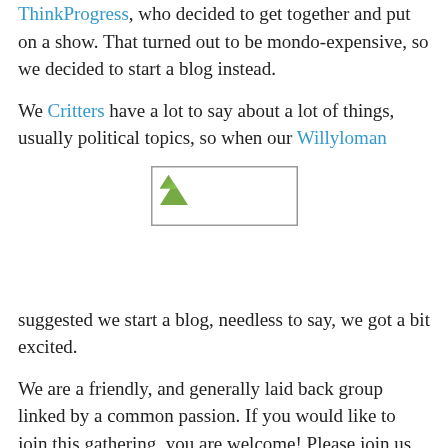ThinkProgress, who decided to get together and put on a show. That turned out to be mondo-expensive, so we decided to start a blog instead.
We Critters have a lot to say about a lot of things, usually political topics, so when our Willyloman
[Figure (photo): Broken/unloaded image placeholder with small green triangle icon, shown inline within text flow]
suggested we start a blog, needless to say, we got a bit excited.
We are a friendly, and generally laid back group linked by a common passion. If you would like to join this gathering, you are welcome! Please join us in the comments section